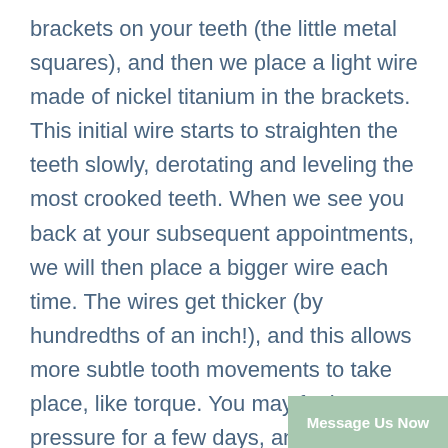brackets on your teeth (the little metal squares), and then we place a light wire made of nickel titanium in the brackets. This initial wire starts to straighten the teeth slowly, derotating and leveling the most crooked teeth. When we see you back at your subsequent appointments, we will then place a bigger wire each time. The wires get thicker (by hundredths of an inch!), and this allows more subtle tooth movements to take place, like torque. You may feel pressure for a few days, and consequently have a bit of discomfort.
Message Us Now